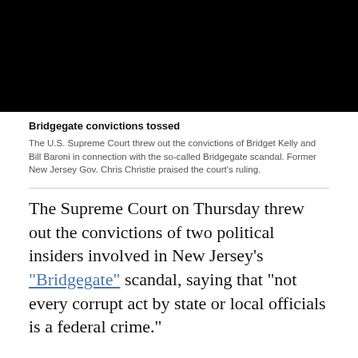[Figure (photo): Black rectangle placeholder image at top of article]
Bridgegate convictions tossed
The U.S. Supreme Court threw out the convictions of Bridget Kelly and Bill Baroni in connection with the so-called Bridgegate scandal. Former New Jersey Gov. Chris Christie praised the court's ruling.
The Supreme Court on Thursday threw out the convictions of two political insiders involved in New Jersey’s “Bridgegate” scandal, saying that “not every corrupt act by state or local officials is a federal crime.”
The court said in a unanimous decision Thursday that the government had overreached in prosecuting two allies of then-New Jersey Gov. Chris Christie, Bridget Kelly and Bill Baroni, for their roles in a political payback scheme that created massive traffic jams to…